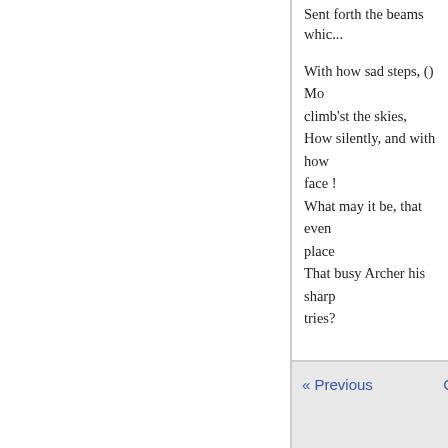Sent forth the beams whic...
With how sad steps, () Mo climb'st the skies,
How silently, and with how face !
What may it be, that even place
That busy Archer his sharp tries?
« Previous  C